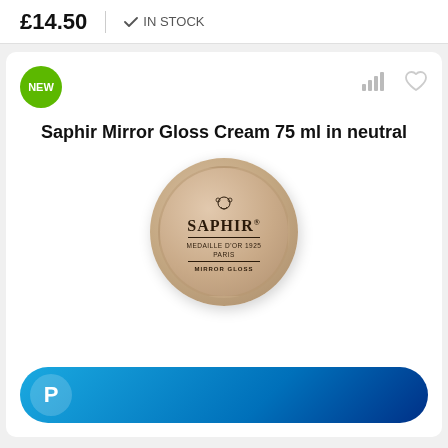£14.50
IN STOCK
NEW
Saphir Mirror Gloss Cream 75 ml in neutral
[Figure (photo): Saphir Mirror Gloss cream tin, round, tan/beige metallic lid with Saphir Medaille d'Or Paris branding and Mirror Gloss text]
[Figure (logo): PayPal button — blue gradient pill-shaped button with PayPal P logo icon on left]